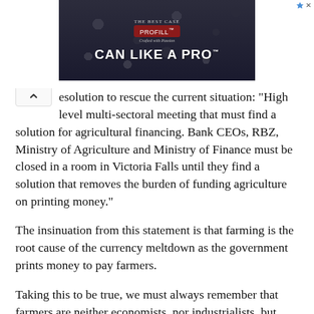[Figure (photo): Advertisement banner for PROFILL 'CAN LIKE A PRO' product, showing canning lids background with dark overlay text.]
resolution to rescue the current situation: “High level multi-sectoral meeting that must find a solution for agricultural financing. Bank CEOs, RBZ, Ministry of Agriculture and Ministry of Finance must be closed in a room in Victoria Falls until they find a solution that removes the burden of funding agriculture on printing money.”
The insinuation from this statement is that farming is the root cause of the currency meltdown as the government prints money to pay farmers.
Taking this to be true, we must always remember that farmers are neither economists, nor industrialists, but they definitely are not a charity case. Whatever they are producing on their farms is either being sold on the local market or exported.